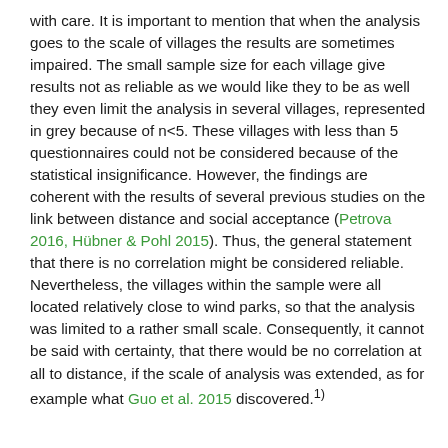with care. It is important to mention that when the analysis goes to the scale of villages the results are sometimes impaired. The small sample size for each village give results not as reliable as we would like they to be as well they even limit the analysis in several villages, represented in grey because of n<5. These villages with less than 5 questionnaires could not be considered because of the statistical insignificance. However, the findings are coherent with the results of several previous studies on the link between distance and social acceptance (Petrova 2016, Hübner & Pohl 2015). Thus, the general statement that there is no correlation might be considered reliable. Nevertheless, the villages within the sample were all located relatively close to wind parks, so that the analysis was limited to a rather small scale. Consequently, it cannot be said with certainty, that there would be no correlation at all to distance, if the scale of analysis was extended, as for example what Guo et al. 2015 discovered.1)